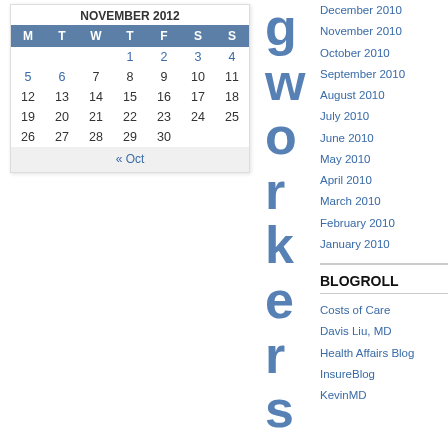| M | T | W | T | F | S | S |
| --- | --- | --- | --- | --- | --- | --- |
|  |  |  | 1 | 2 | 3 | 4 |
| 5 | 6 | 7 | 8 | 9 | 10 | 11 |
| 12 | 13 | 14 | 15 | 16 | 17 | 18 |
| 19 | 20 | 21 | 22 | 23 | 24 | 25 |
| 26 | 27 | 28 | 29 | 30 |  |  |
« Oct
December 2010
November 2010
October 2010
September 2010
August 2010
July 2010
June 2010
May 2010
April 2010
March 2010
February 2010
January 2010
BLOGROLL
Costs of Care
Davis Liu, MD
Health Affairs Blog
InsureBlog
KevinMD